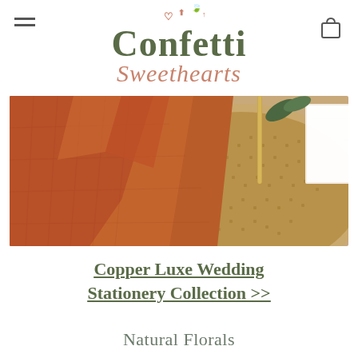Confetti Sweethearts
[Figure (photo): A photo of terracotta/rust-colored linen napkin fabric draped over a woven rattan basket on a wooden table, with a white card and gold pen visible, styled as a wedding stationery flat lay.]
Copper Luxe Wedding Stationery Collection >>
Natural Florals